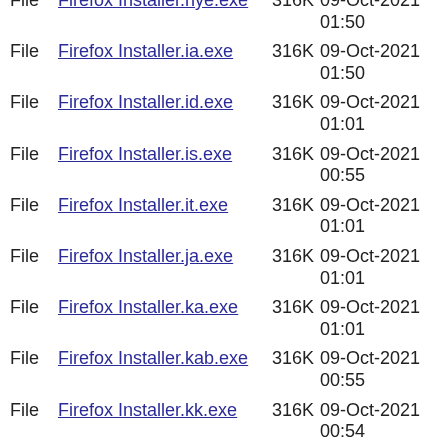File  Firefox Installer.ia.exe  316K  09-Oct-2021 01:50
File  Firefox Installer.id.exe  316K  09-Oct-2021 01:01
File  Firefox Installer.is.exe  316K  09-Oct-2021 00:55
File  Firefox Installer.it.exe  316K  09-Oct-2021 01:01
File  Firefox Installer.ja.exe  316K  09-Oct-2021 01:01
File  Firefox Installer.ka.exe  316K  09-Oct-2021 01:01
File  Firefox Installer.kab.exe  316K  09-Oct-2021 00:55
File  Firefox Installer.kk.exe  316K  09-Oct-2021 00:54
File  Firefox Installer.km.exe  316K  09-Oct-2021 00:48
File  Firefox Installer.kn.exe  316K  09-Oct-2021 00:49
File  Firefox Installer.ko.exe  316K  09-Oct-2021 00:54